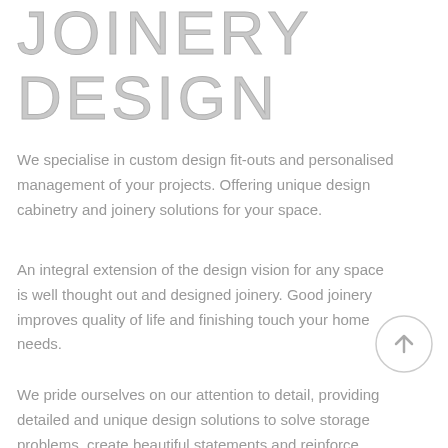JOINERY DESIGN
We specialise in custom design fit-outs and personalised management of your projects. Offering unique design cabinetry and joinery solutions for your space.
An integral extension of the design vision for any space is well thought out and designed joinery. Good joinery improves quality of life and finishing touch your home needs.
We pride ourselves on our attention to detail, providing detailed and unique design solutions to solve storage problems, create beautiful statements and reinforce design
[Figure (illustration): A circular back-to-top button with an upward-pointing arrow, light grey border and white background]